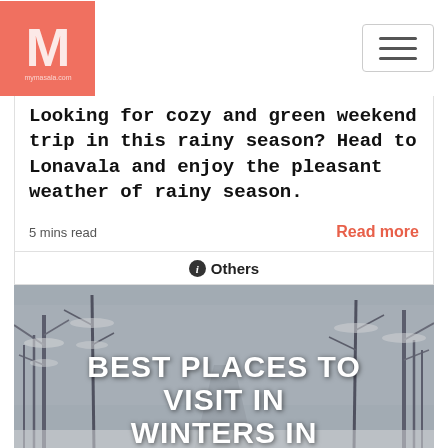[Figure (logo): Salmon/coral colored square logo with stylized M letter and small text below reading mymasalacom]
Looking for cozy and green weekend trip in this rainy season? Head to Lonavala and enjoy the pleasant weather of rainy season.
5 mins read
Read more
ℹ Others
[Figure (photo): Snow-covered winter forest scene with white trees, dark/grey tones. Large white bold text overlay reads: BEST PLACES TO VISIT IN WINTERS IN]